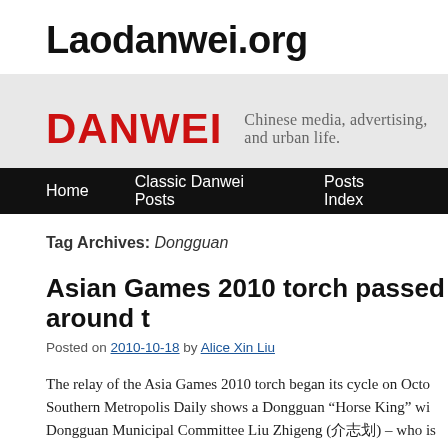Laodanwei.org
[Figure (logo): Danwei site header banner with red DANWEI logo and tagline 'Chinese media, advertising, and urban life.' on grey background]
Home   Classic Danwei Posts   Posts Index
Tag Archives: Dongguan
Asian Games 2010 torch passed around t
Posted on 2010-10-18 by Alice Xin Liu
The relay of the Asia Games 2010 torch began its cycle on Octo Southern Metropolis Daily shows a Dongguan “Horse King” wi Dongguan Municipal Committee Liu Zhigeng (å!0) – who is har Du Feng (å!0).